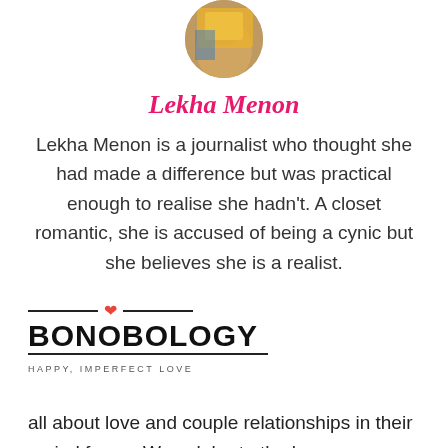[Figure (photo): Circular profile photo of Lekha Menon wearing yellow clothing, cropped at top of page]
Lekha Menon
Lekha Menon is a journalist who thought she had made a difference but was practical enough to realise she hadn't. A closet romantic, she is accused of being a cynic but she believes she is a realist.
[Figure (logo): Bonobology logo with red heart between two horizontal lines above the wordmark BONOBOLOGY and tagline HAPPY, IMPERFECT LOVE below a horizontal line]
all about love and couple relationships in their varied forms. We celebrate the happy